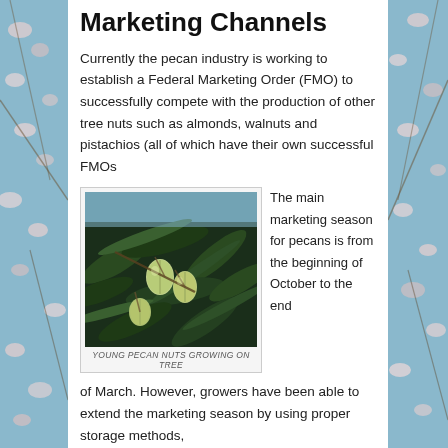Marketing Channels
Currently the pecan industry is working to establish a Federal Marketing Order (FMO) to successfully compete with the production of other tree nuts such as almonds, walnuts and pistachios (all of which have their own successful FMOs
[Figure (photo): Close-up photograph of young pecan nuts growing on a tree branch with green leaves]
YOUNG PECAN NUTS GROWING ON TREE
The main marketing season for pecans is from the beginning of October to the end of March. However, growers have been able to extend the marketing season by using proper storage methods,